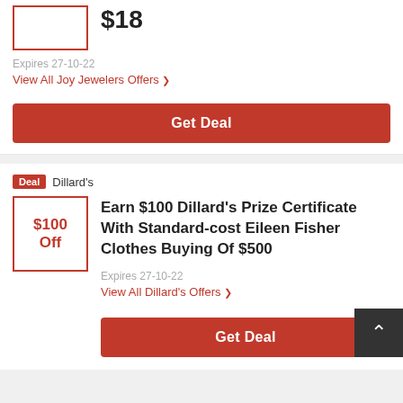$18
Expires 27-10-22
View All Joy Jewelers Offers ❯
Get Deal
Deal  Dillard's
Earn $100 Dillard's Prize Certificate With Standard-cost Eileen Fisher Clothes Buying Of $500
$100 Off
Expires 27-10-22
View All Dillard's Offers ❯
Get Deal